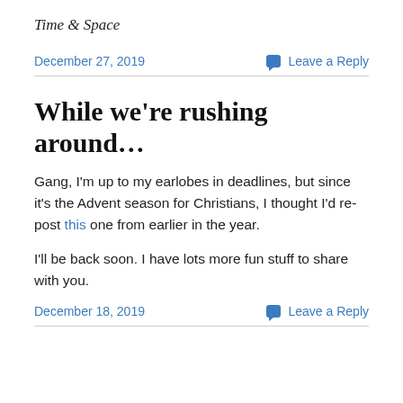Time & Space
December 27, 2019    Leave a Reply
While we're rushing around…
Gang, I'm up to my earlobes in deadlines, but since it's the Advent season for Christians, I thought I'd re-post this one from earlier in the year.

I'll be back soon. I have lots more fun stuff to share with you.
December 18, 2019    Leave a Reply